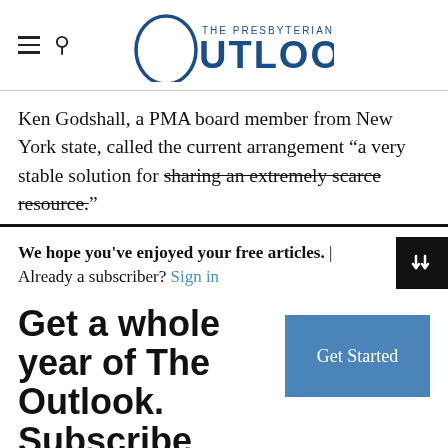The Presbyterian Outlook
Ken Godshall, a PMA board member from New York state, called the current arrangement “a very stable solution for sharing an extremely scarce resource.”
We hope you've enjoyed your free articles. | Already a subscriber? Sign in
Get a whole year of The Outlook. Subscribe today.
You have viewed 1 out of 3 free page views.